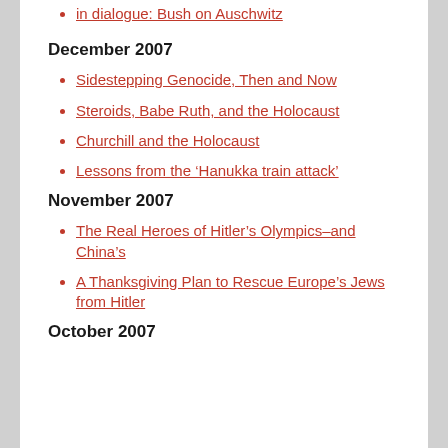in dialogue: Bush on Auschwitz
December 2007
Sidestepping Genocide, Then and Now
Steroids, Babe Ruth, and the Holocaust
Churchill and the Holocaust
Lessons from the ‘Hanukka train attack’
November 2007
The Real Heroes of Hitler’s Olympics–and China’s
A Thanksgiving Plan to Rescue Europe’s Jews from Hitler
October 2007